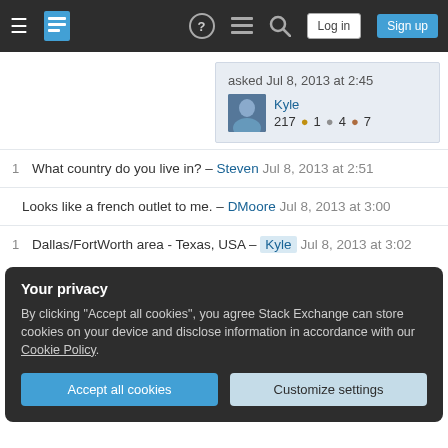[Figure (screenshot): Stack Exchange navigation bar with hamburger menu, logo, help, chat, search icons, Log in and Sign up buttons]
asked Jul 8, 2013 at 2:45
Kyle
217 ●1 ●4 ●7
1  What country do you live in? – Steven Jul 8, 2013 at 2:51
Looks like a french outlet to me. – DMoore Jul 8, 2013 at 3:00
1  Dallas/FortWorth area - Texas, USA – Kyle Jul 8, 2013 at 3:02
Your privacy
By clicking "Accept all cookies", you agree Stack Exchange can store cookies on your device and disclose information in accordance with our Cookie Policy.
Accept all cookies   Customize settings
dangerous design. – hookenz Jul 8, 2013 at 4:11